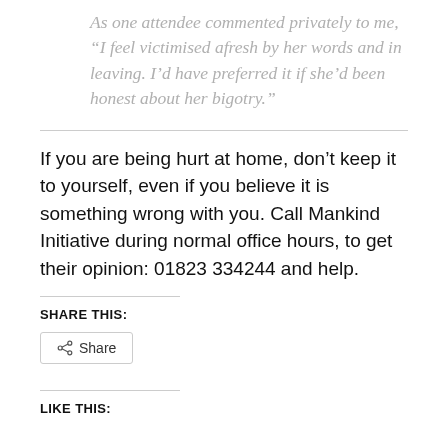As one attendee commented privately to me, “I feel victimised afresh by her words and in leaving. I’d have preferred it if she’d been honest about her bigotry.”
If you are being hurt at home, don’t keep it to yourself, even if you believe it is something wrong with you. Call Mankind Initiative during normal office hours, to get their opinion: 01823 334244 and help.
SHARE THIS:
Share
LIKE THIS: